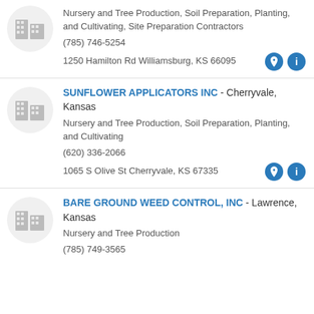Nursery and Tree Production, Soil Preparation, Planting, and Cultivating, Site Preparation Contractors
(785) 746-5254
1250 Hamilton Rd Williamsburg, KS 66095
SUNFLOWER APPLICATORS INC - Cherryvale, Kansas
Nursery and Tree Production, Soil Preparation, Planting, and Cultivating
(620) 336-2066
1065 S Olive St Cherryvale, KS 67335
BARE GROUND WEED CONTROL, INC - Lawrence, Kansas
Nursery and Tree Production
(785) 749-3565